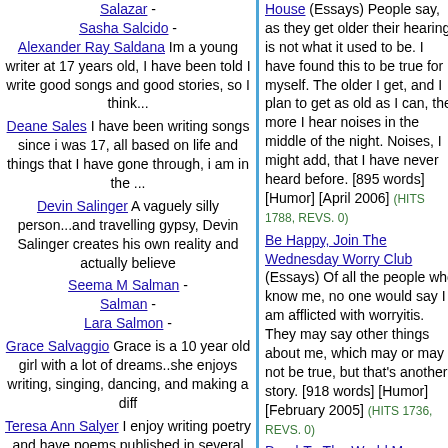Salazar - Sasha Salcido - Alexander Ray Saldana Im a young writer at 17 years old, I have been told I write good songs and good stories, so I think...
Deane Sales I have been writing songs since i was 17, all based on life and things that I have gone through, i am in the ...
Devin Salinger A vaguely silly person...and travelling gypsy, Devin Salinger creates his own reality and actually believe
Seema M Salman - Salman - Lara Salmon -
Grace Salvaggio Grace is a 10 year old girl with a lot of dreams..she enjoys writing, singing, dancing, and making a diff
Teresa Ann Salyer I enjoy writing poetry and have poems published in several anthologies. I am interested in writing sc...
Alex M Sam I am a 13 year old boy in drama, forensics, newspaper staff, and student council. I love to write!
Samantha Carter Samantha Carter, other titles
House (Essays) People say, as they get older their hearing is not what it used to be. I have found this to be true for myself. The older I get, and I plan to get as old as I can, the more I hear noises in the middle of the night. Noises, I might add, that I have never heard before. [895 words] [Humor] [April 2006] (HITS 1788, REVS. 0)
Be Happy, Join The Wednesday Worry Club (Essays) Of all the people who know me, no one would say I am afflicted with worryitis. They may say other things about me, which may or may not be true, but that's another story. [918 words] [Humor] [February 2005] (HITS 1736, REVS. 0)
Dead-To-The-World Man Walking (Essays) One morning this week, I woke up with a black eye. How I got it still baffles me. I have